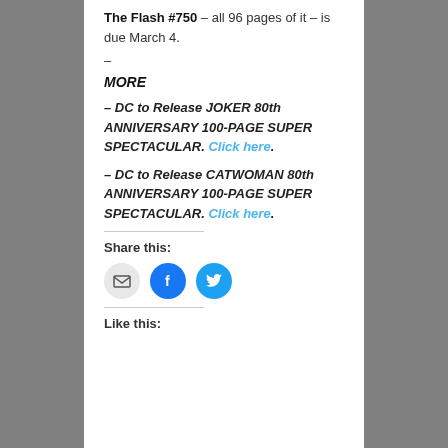The Flash #750 – all 96 pages of it – is due March 4.
–
MORE
– DC to Release JOKER 80th ANNIVERSARY 100-PAGE SUPER SPECTACULAR. Click here.
– DC to Release CATWOMAN 80th ANNIVERSARY 100-PAGE SUPER SPECTACULAR. Click here.
Share this:
[Figure (infographic): Three social sharing icons: email (grey circle), Facebook (blue circle), Twitter (light blue circle)]
Like this: